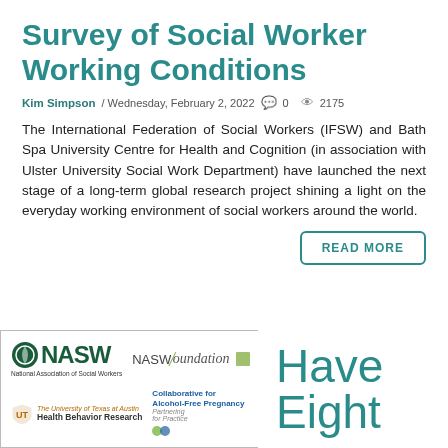Survey of Social Worker Working Conditions
Kim Simpson / Wednesday, February 2, 2022   0   2175
The International Federation of Social Workers (IFSW) and Bath Spa University Centre for Health and Cognition (in association with Ulster University Social Work Department) have launched the next stage of a long-term global research project shining a light on the everyday working environment of social workers around the world.
READ MORE
[Figure (logo): NASW (National Association of Social Workers) logo, NASW Foundation logo, University of Texas at Austin Health Behavior Research logo, Collaborative for Alcohol-Free Pregnancy logo]
Have Eight